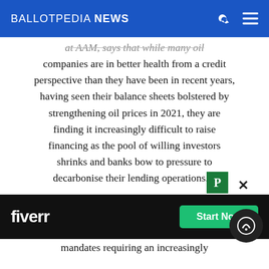BALLOTPEDIA NEWS
at AAM, says that while many oil companies are in better health from a credit perspective than they have been in recent years, having seen their balance sheets bolstered by strengthening oil prices in 2021, they are finding it increasingly difficult to raise financing as the pool of willing investors shrinks and banks bow to pressure to decarbonise their lending operations....
[Figure (other): Fiverr advertisement banner with 'Start Now' button]
mandates requiring an increasingly